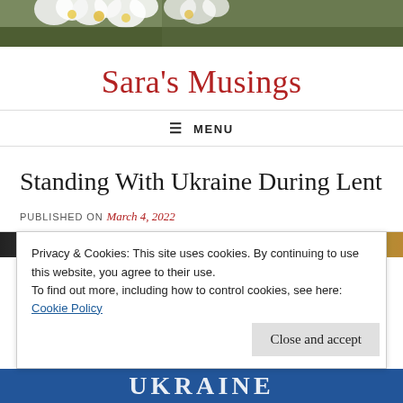[Figure (photo): Header photo showing daisies and foliage]
Sara's Musings
≡ MENU
Standing With Ukraine During Lent
PUBLISHED ON March 4, 2022
[Figure (photo): Partial strip of images visible behind cookie banner]
Privacy & Cookies: This site uses cookies. By continuing to use this website, you agree to their use.
To find out more, including how to control cookies, see here:
Cookie Policy
Close and accept
[Figure (photo): Bottom partial image showing UKRAINE text]